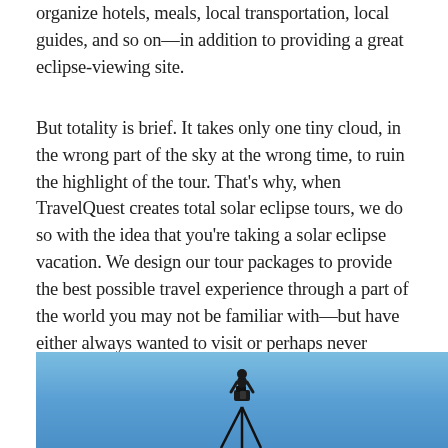organize hotels, meals, local transportation, local guides, and so on—in addition to providing a great eclipse-viewing site.
But totality is brief. It takes only one tiny cloud, in the wrong part of the sky at the wrong time, to ruin the highlight of the tour. That's why, when TravelQuest creates total solar eclipse tours, we do so with the idea that you're taking a solar eclipse vacation. We design our tour packages to provide the best possible travel experience through a part of the world you may not be familiar with—but have either always wanted to visit or perhaps never thought of traveling to. Standing in the shadow of the Moon during a total solar eclipse is, literally, the icing on the cake of an incredible journey.
[Figure (photo): A photograph showing a silhouette of a person with a camera on a tripod against a blue sky background, likely taken during a solar eclipse event.]